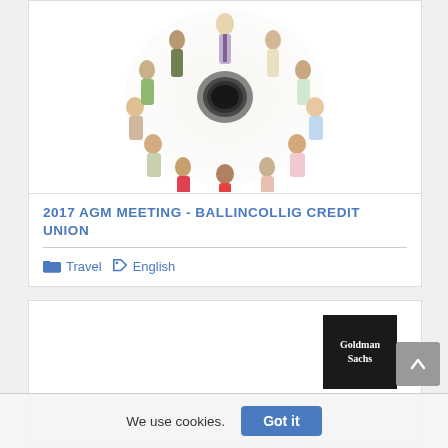[Figure (photo): Overhead photo of a group of people lying on the floor in a circle with their feet meeting in the center, viewed from above. People are dressed in various colorful outfits.]
2017 AGM MEETING - BALLINCOLLIG CREDIT UNION
Travel   English
[Figure (logo): Goldman Sachs logo — black square with white serif text reading 'Goldman Sachs']
We use cookies.